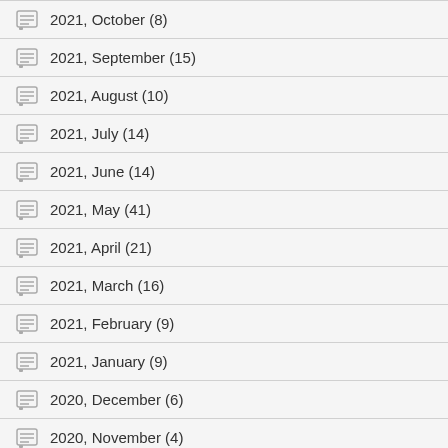2021, October (8)
2021, September (15)
2021, August (10)
2021, July (14)
2021, June (14)
2021, May (41)
2021, April (21)
2021, March (16)
2021, February (9)
2021, January (9)
2020, December (6)
2020, November (4)
2020, October (12)